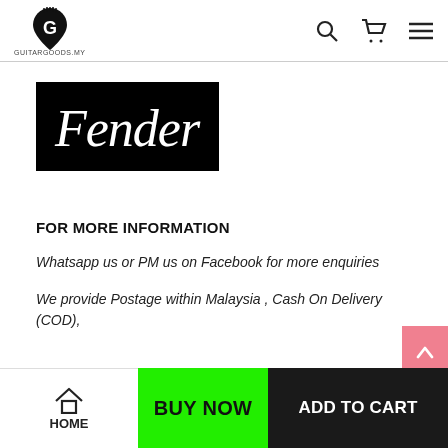Guitargoods.my — navigation header with logo, search, cart, and menu icons
[Figure (logo): Fender logo — white cursive 'Fender' text on black background]
FOR MORE INFORMATION
Whatsapp us or PM us on Facebook for more enquiries
We provide Postage within Malaysia , Cash On Delivery (COD),
HOME | BUY NOW | ADD TO CART